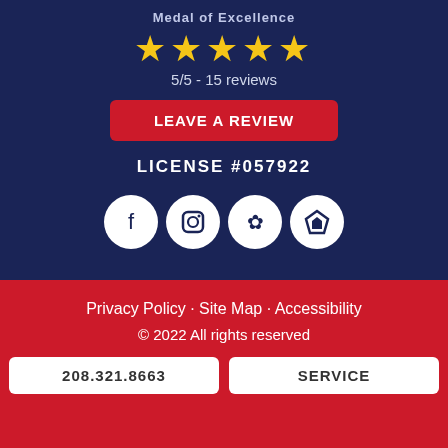Medal of Excellence
[Figure (other): Five gold stars rating]
5/5 - 15 reviews
LEAVE A REVIEW
LICENSE #057922
[Figure (other): Social media icons: Facebook, Instagram, Yelp, HomeAdvisor]
Privacy Policy · Site Map · Accessibility
© 2022 All rights reserved
208.321.8663
SERVICE